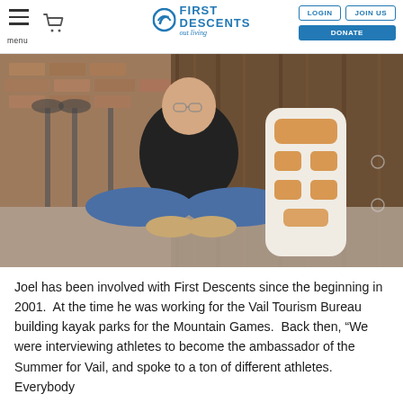menu | First Descents | LOGIN | JOIN US | DONATE
[Figure (photo): A man sitting cross-legged on the floor in a rustic brick-walled interior, wearing a black t-shirt and jeans, with a white balance board leaning against a wooden wall beside him.]
Joel has been involved with First Descents since the beginning in 2001.  At the time he was working for the Vail Tourism Bureau building kayak parks for the Mountain Games.  Back then, “We were interviewing athletes to become the ambassador of the Summer for Vail, and spoke to a ton of different athletes.  Everybody